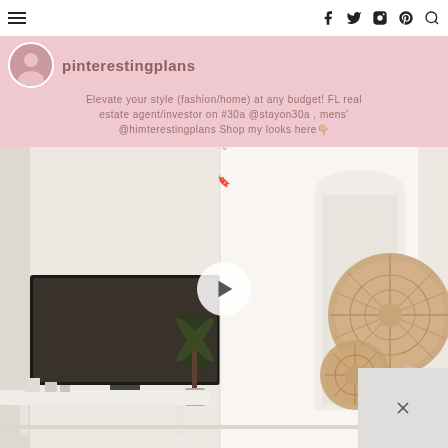pinterestingplans navigation bar with hamburger menu and social icons (facebook, twitter, instagram, pinterest, search)
pinterestingplans
Elevate your style (fashion/home) at any budget! FL real estate agent/investor on #30a @stayon30a , mens' @himterestingplans Shop my looks here👇🏼
[Figure (photo): Minimalist white interior living room with wall-mounted flat screen TV on left side, tropical plant, white walls and archway, and decorative woven round wall art on right side. A play button overlay is centered on the image.]